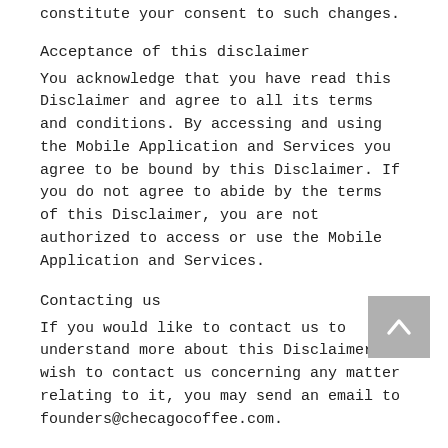constitute your consent to such changes.
Acceptance of this disclaimer
You acknowledge that you have read this Disclaimer and agree to all its terms and conditions. By accessing and using the Mobile Application and Services you agree to be bound by this Disclaimer. If you do not agree to abide by the terms of this Disclaimer, you are not authorized to access or use the Mobile Application and Services.
Contacting us
If you would like to contact us to understand more about this Disclaimer or wish to contact us concerning any matter relating to it, you may send an email to founders@checagocoffee.com.
This document was last updated on March 10, 2021
Acceptable use policy